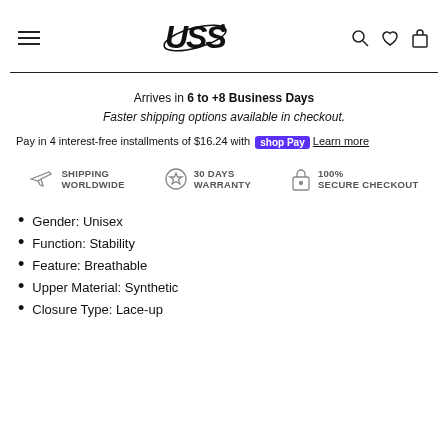[Figure (logo): USS brand logo in bold italic font with orbital arc graphic]
Arrives in 6 to +8 Business Days
Faster shipping options available in checkout.
Pay in 4 interest-free installments of $16.24 with Shop Pay Learn more
[Figure (infographic): Three trust badges: Shipping Worldwide, 30 Days Warranty, 100% Secure Checkout]
Gender: Unisex
Function: Stability
Feature: Breathable
Upper Material: Synthetic
Closure Type: Lace-up